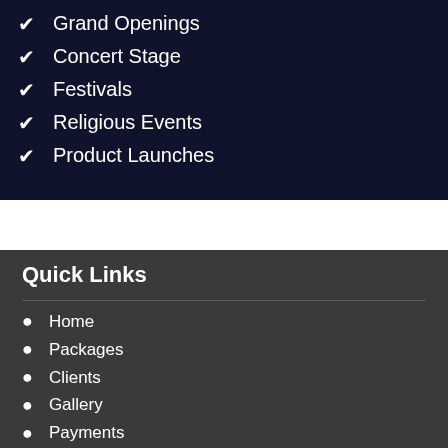Grand Openings
Concert Stage
Festivals
Religious Events
Product Launches
Quick Links
Home
Packages
Clients
Gallery
Payments
Contact